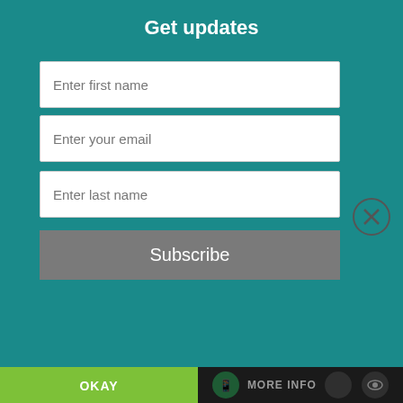Get updates
Enter first name
Enter your email
Enter last name
Subscribe
[Figure (illustration): Five book covers displayed in a horizontal strip: Traffic Law, Made For More, Grace And Truth, The Better Covenant, The Gift Of Sight]
FOLLOW ME ON TWITTER
This website uses cookies
OKAY
MORE INFO